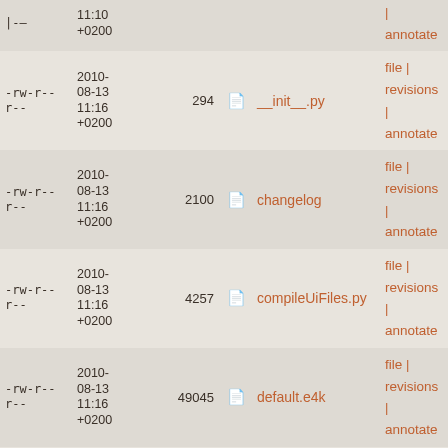| permissions | date | size | icon | filename | actions |
| --- | --- | --- | --- | --- | --- |
| -rw-r--r-- | 2010-08-13 11:10 +0200 |  |  |  | | annotate |
| -rw-r--r-- | 2010-08-13 11:16 +0200 | 294 | 📄 | __init__.py | file | revisions | annotate |
| -rw-r--r-- | 2010-08-13 11:16 +0200 | 2100 | 📄 | changelog | file | revisions | annotate |
| -rw-r--r-- | 2010-08-13 11:16 +0200 | 4257 | 📄 | compileUiFiles.py | file | revisions | annotate |
| -rw-r--r-- | 2010-08-13 11:16 +0200 | 49045 | 📄 | default.e4k | file | revisions | annotate |
| -rw-r--r-- | 2010-08-13 11:16 +0200 | 10031 | 📄 | eric5-api.py | file | revisions | annotate |
| -rw-r--r-- | 2010-08-13 11:16 +0200 | 1781 | 📄 | eric5-compare.py | file | revisions | annotate |